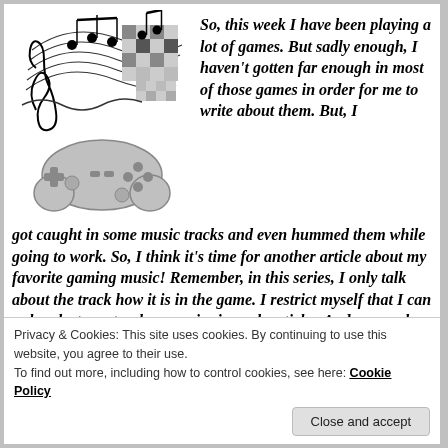[Figure (illustration): Music notes with treble clef and swirling staff lines combined with a pixelated checkerboard pattern and a game controller below]
So, this week I have been playing a lot of games. But sadly enough, I haven't gotten far enough in most of those games in order for me to write about them. But, I got caught in some music tracks and even hummed them while going to work. So, I think it's time for another article about my favorite gaming music! Remember, in this series, I only talk about the track how it is in the game. I restrict myself that I can only select one track per series in each article.  And as usual, feel free to leave a comment with your favorite gaming tracks and/or your opinion on the
Privacy & Cookies: This site uses cookies. By continuing to use this website, you agree to their use.
To find out more, including how to control cookies, see here: Cookie Policy
Close and accept